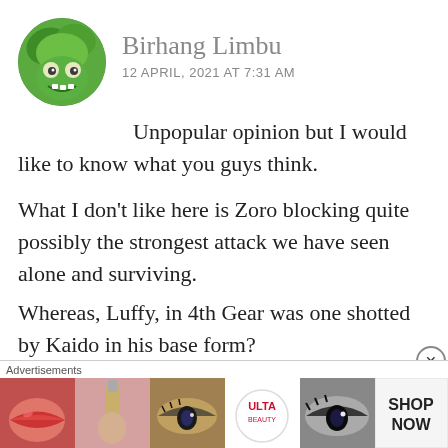[Figure (illustration): Circular avatar image showing a cartoon green frog/lizard creature with large eyes and teeth]
Birhang Limbu
12 APRIL, 2021 AT 7:31 AM
Unpopular opinion but I would like to know what you guys think.

What I don't like here is Zoro blocking quite possibly the strongest attack we have seen alone and surviving.
Whereas, Luffy, in 4th Gear was one shotted by Kaido in his base form?
Bear in mind, 4th Gear has some remarkabl…
[Figure (advertisement): ULTA beauty advertisement banner showing close-up images of lips with lipstick, makeup brush, eye with eyeshadow, ULTA logo, dramatic eye makeup, and SHOP NOW text]
Advertisements